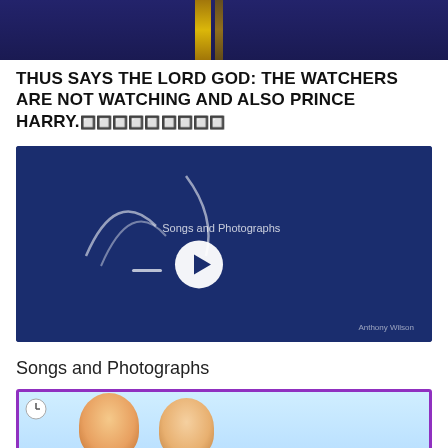[Figure (photo): Top portion of a dark blue/navy garment or costume with gold accents, cropped photo]
THUS SAYS THE LORD GOD: THE WATCHERS ARE NOT WATCHING AND ALSO PRINCE HARRY.🔲🔲🔲🔲🔲🔲🔲🔲🔲
[Figure (screenshot): Video thumbnail with dark navy blue background, decorative white swish lines, text 'Songs and Photographs', a play button circle icon, and 'Anthony Wilson' credit in bottom right]
Songs and Photographs
[Figure (photo): Bottom portion of a web page screenshot showing a purple-bordered image with a light blue background and faces of people partially visible]